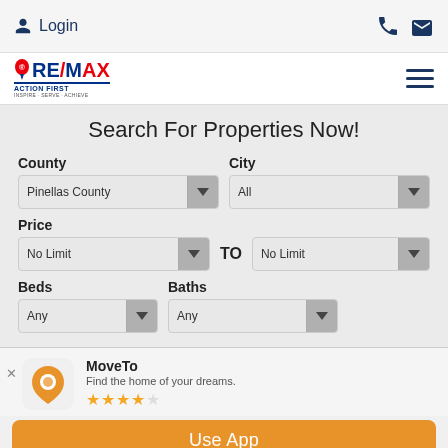Login
[Figure (logo): RE/MAX Action First logo with balloon icon and tagline INSPIRE · SERVE · ACHIEVE]
Search For Properties Now!
County: Pinellas County | City: All
Price: No Limit TO No Limit
Beds: Any | Baths: Any
MoveTo - Find the home of your dreams. (4 star rating) - Use App